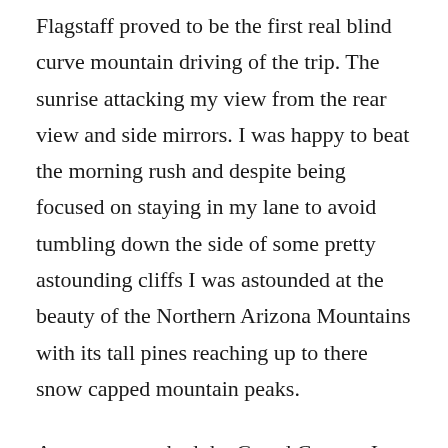Flagstaff proved to be the first real blind curve mountain driving of the trip. The sunrise attacking my view from the rear view and side mirrors. I was happy to beat the morning rush and despite being focused on staying in my lane to avoid tumbling down the side of some pretty astounding cliffs I was astounded at the beauty of the Northern Arizona Mountains with its tall pines reaching up to there snow capped mountain peaks.
As we approached the Grand Canyon I couldn't help but wonder where is it? I know it's a huge whole in the ground but surely you could see it before you missed it, right? Right. We paid our entrance fee, parked, and the front footed in the members of The Grand Canyon of